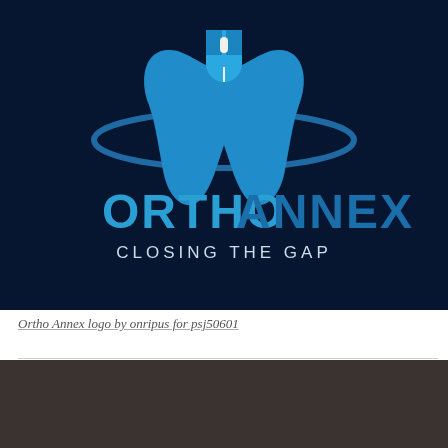[Figure (logo): Ortho Annex logo on dark navy background. Features a stylized blue tooth shape with a computer mouse graphic on top and orbital ring. Text reads ORTHO ANNEX with tagline CLOSING THE GAP in white below.]
Ortho Annex logo by onripus for psj50601
[Figure (photo): Dark brownish-gray image block, appears to be a partially visible photograph with very dark tones.]